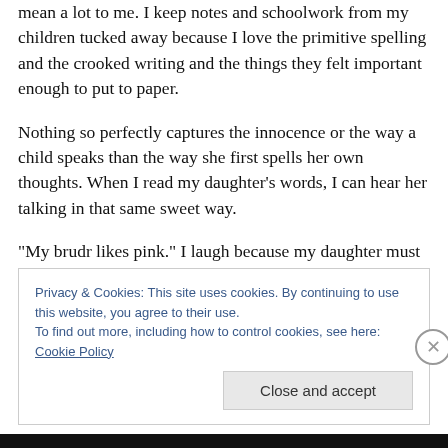mean a lot to me. I keep notes and schoolwork from my children tucked away because I love the primitive spelling and the crooked writing and the things they felt important enough to put to paper.
Nothing so perfectly captures the innocence or the way a child speaks than the way she first spells her own thoughts. When I read my daughter's words, I can hear her talking in that same sweet way.
“My brudr likes pink.” I laugh because my daughter must
Privacy & Cookies: This site uses cookies. By continuing to use this website, you agree to their use.
To find out more, including how to control cookies, see here: Cookie Policy
Close and accept